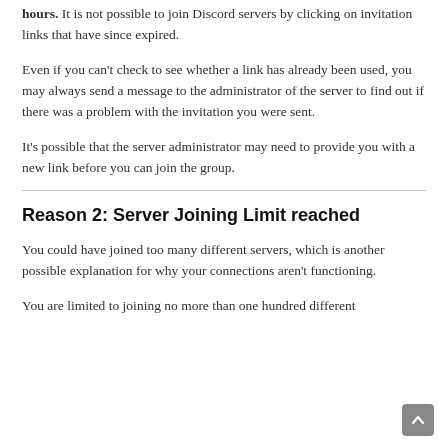hours. It is not possible to join Discord servers by clicking on invitation links that have since expired.
Even if you can't check to see whether a link has already been used, you may always send a message to the administrator of the server to find out if there was a problem with the invitation you were sent.
It's possible that the server administrator may need to provide you with a new link before you can join the group.
Reason 2: Server Joining Limit reached
You could have joined too many different servers, which is another possible explanation for why your connections aren't functioning.
You are limited to joining no more than one hundred different